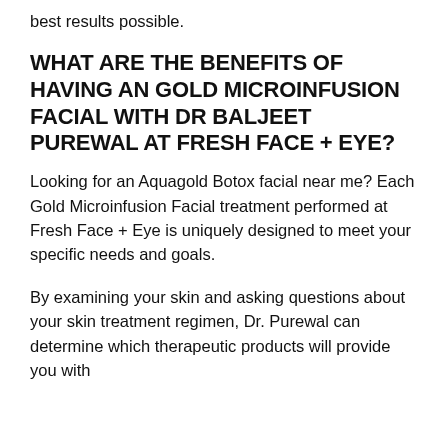best results possible.
WHAT ARE THE BENEFITS OF HAVING AN GOLD MICROINFUSION FACIAL WITH DR BALJEET PUREWAL AT FRESH FACE + EYE?
Looking for an Aquagold Botox facial near me? Each Gold Microinfusion Facial treatment performed at Fresh Face + Eye is uniquely designed to meet your specific needs and goals.
By examining your skin and asking questions about your skin treatment regimen, Dr. Purewal can determine which therapeutic products will provide you with